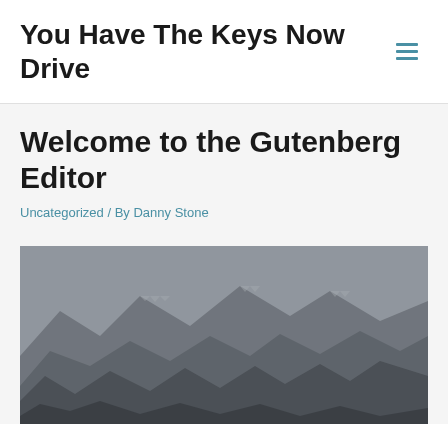You Have The Keys Now Drive
Welcome to the Gutenberg Editor
Uncategorized / By Danny Stone
[Figure (photo): Mountain landscape photo showing rocky peaks under a hazy grey sky, partially visible at bottom of page]